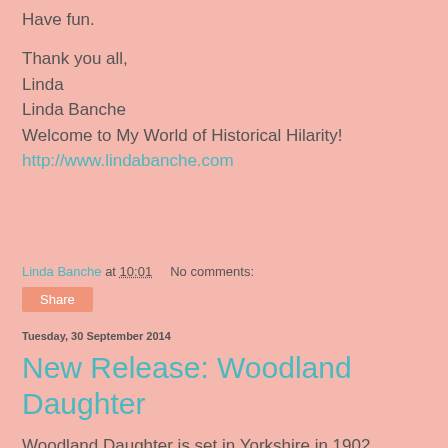Have fun.
Thank you all,
Linda
Linda Banche
Welcome to My World of Historical Hilarity!
http://www.lindabanche.com
Linda Banche at 10:01    No comments:
Share
Tuesday, 30 September 2014
New Release: Woodland Daughter
Woodland Daughter is set in Yorkshire in 1902, Queen Victoria has died and the new century has brought in many